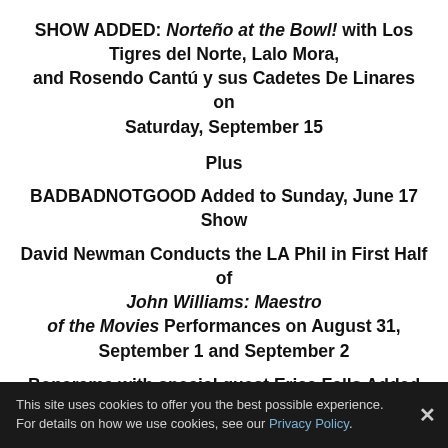SHOW ADDED: Norteño at the Bowl! with Los Tigres del Norte, Lalo Mora, and Rosendo Cantú y sus Cadetes De Linares on Saturday, September 15
Plus
BADBADNOTGOOD Added to Sunday, June 17 Show
David Newman Conducts the LA Phil in First Half of John Williams: Maestro of the Movies Performances on August 31, September 1 and September 2
Bonerama with special guest Erica Falls Added to
This site uses cookies to offer you the best possible experience. For details on how we use cookies, see our Privacy Policy.